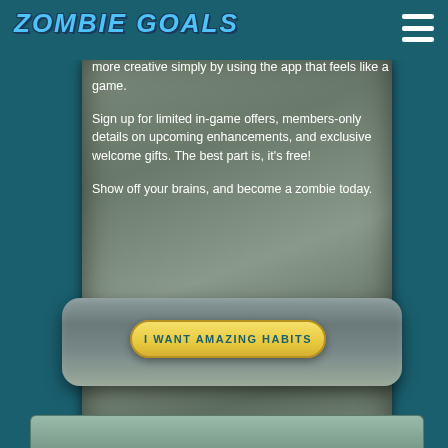ZOMBIE GOALS
more creative simply by using the app that feels like a game.

Sign up for limited in-game offers, members-only details on upcoming enhancements, and exclusive welcome gifts. The best part is, it's free!

Show off your brains, and become a zombie today.
[Figure (illustration): A yellow button labeled 'I WANT AMAZING HABITS' on a stone tablet/gravestone graphic with a stone pedestal base, set against a teal background]